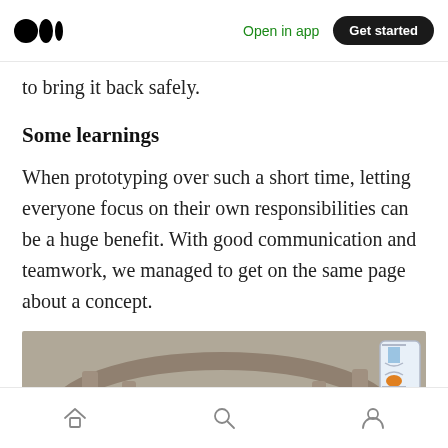Medium — Open in app  Get started
to bring it back safely.
Some learnings
When prototyping over such a short time, letting everyone focus on their own responsibilities can be a huge benefit. With good communication and teamwork, we managed to get on the same page about a concept.
[Figure (screenshot): 3D game environment screenshot showing a stone circular arena/maze with a small orange character and an hourglass icon in the top-right corner.]
Home  Search  Profile